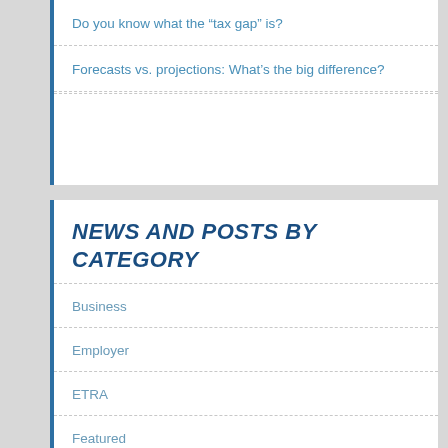Do you know what the “tax gap” is?
Forecasts vs. projections: What’s the big difference?
NEWS AND POSTS BY CATEGORY
Business
Employer
ETRA
Featured